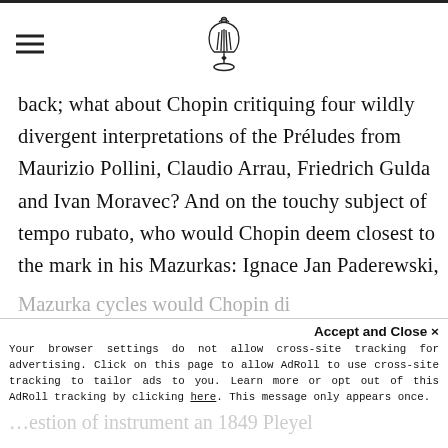[hamburger menu icon] [lyre logo]
back; what about Chopin critiquing four wildly divergent interpretations of the Préludes from Maurizio Pollini, Claudio Arrau, Friedrich Gulda and Ivan Moravec? And on the touchy subject of tempo rubato, who would Chopin deem closest to the mark in his Mazurkas: Ignace Jan Paderewski, Ignaz Friedman, Moriz Rosenthal or Arturo Benedetti Michelangeli? Which of Rubinstein's three remarkably different
Mazurka cycles would Chopin di...
...question of instrument an 1849 Pleyel
Accept and Close ×
Your browser settings do not allow cross-site tracking for advertising. Click on this page to allow AdRoll to use cross-site tracking to tailor ads to you. Learn more or opt out of this AdRoll tracking by clicking here. This message only appears once.